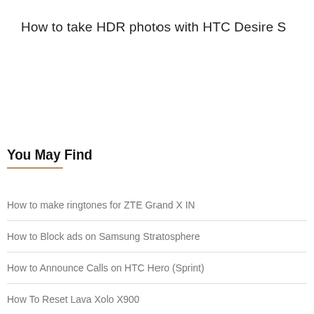How to take HDR photos with HTC Desire S
You May Find
How to make ringtones for ZTE Grand X IN
How to Block ads on Samsung Stratosphere
How to Announce Calls on HTC Hero (Sprint)
How To Reset Lava Xolo X900